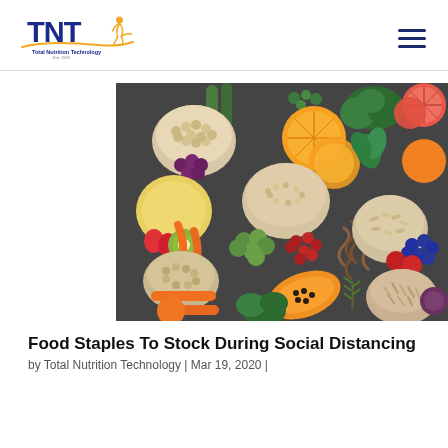Total Nutrition Technology
[Figure (photo): Overhead flat-lay photo of colorful healthy foods including fruits, vegetables, grains, and legumes arranged on a dark stone surface. Items include oranges, grapefruit, blueberries, papaya, kiwi, strawberries, carrots, broccoli, Brussels sprouts, cranberries, melon, zucchini, grains in bowls, pasta, and more.]
Food Staples To Stock During Social Distancing
by Total Nutrition Technology | Mar 19, 2020 |